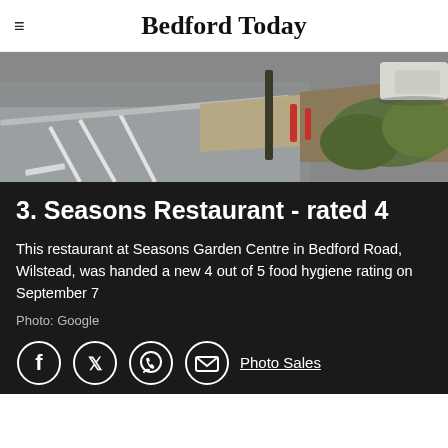Bedford Today
[Figure (photo): Street view photo of the exterior area near Seasons Garden Centre, showing a road, kerb, bollards, a green bush/shrub, and a parked vehicle in the background.]
3. Seasons Restaurant - rated 4
This restaurant at Seasons Garden Centre in Bedford Road, Wilstead, was handed a new 4 out of 5 food hygiene rating on September 7
Photo: Google
Photo Sales